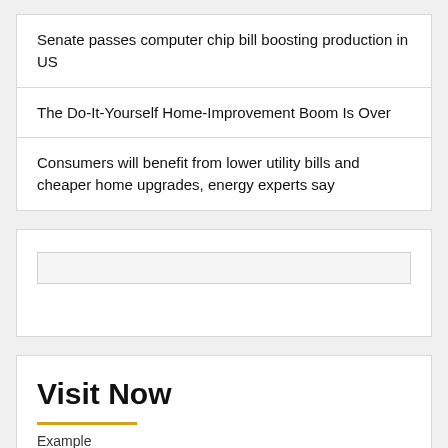Senate passes computer chip bill boosting production in US
The Do-It-Yourself Home-Improvement Boom Is Over
Consumers will benefit from lower utility bills and cheaper home upgrades, energy experts say
[Figure (other): Advertisement placeholder box with light gray background]
Visit Now
Example